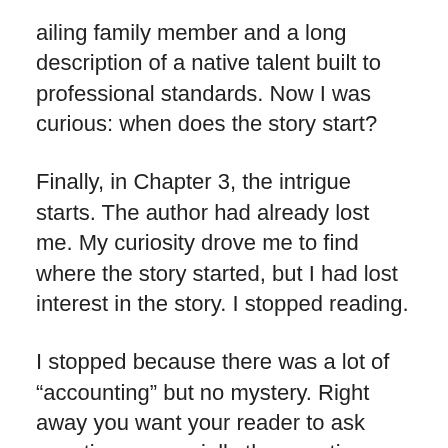ailing family member and a long description of a native talent built to professional standards. Now I was curious: when does the story start?
Finally, in Chapter 3, the intrigue starts. The author had already lost me. My curiosity drove me to find where the story started, but I had lost interest in the story. I stopped reading.
I stopped because there was a lot of “accounting” but no mystery. Right away you want your reader to ask questions, especially the question, “What will happen next?”
I am certain that the author of the spy thriller believed she had met story essentials by